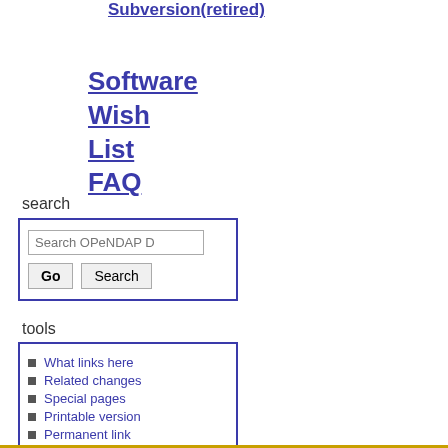Subversion(retired)
Software Wish List
FAQ
search
Search OPeNDAP D [Go] [Search]
tools
What links here
Related changes
Special pages
Printable version
Permanent link
Page information